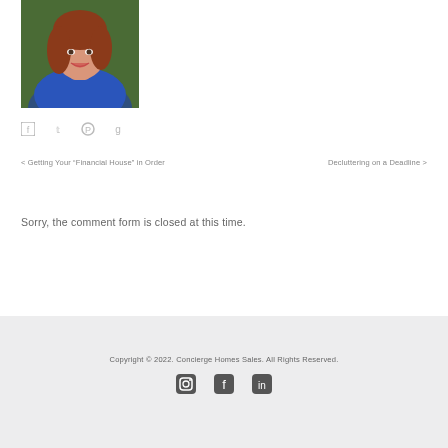[Figure (photo): Headshot of a woman with reddish-brown hair wearing a blue top, smiling, with a green blurred background]
[Figure (infographic): Social sharing icons: Facebook, Twitter, Pinterest, Google+]
< Getting Your "Financial House" in Order    Decluttering on a Deadline >
Sorry, the comment form is closed at this time.
Copyright © 2022. Concierge Homes Sales. All Rights Reserved.
[Figure (infographic): Footer social icons: Instagram, Facebook, LinkedIn]